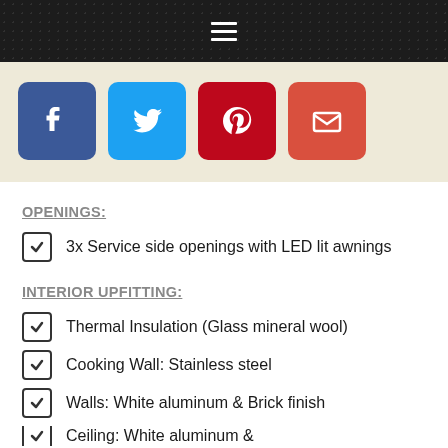Navigation menu bar
[Figure (other): Social share buttons row: Facebook (blue), Twitter (light blue), Pinterest (dark red), Email (orange-red)]
OPENINGS:
3x Service side openings with LED lit awnings
INTERIOR UPFITTING:
Thermal Insulation (Glass mineral wool)
Cooking Wall: Stainless steel
Walls: White aluminum & Brick finish
Ceiling: White aluminum (partial)